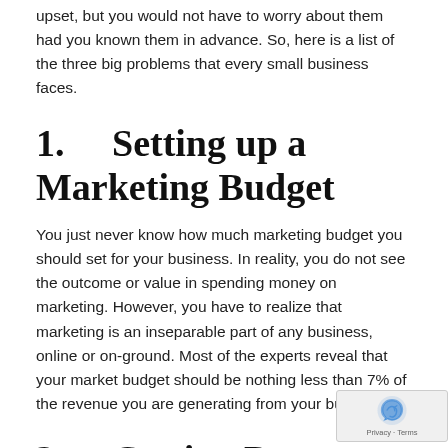upset, but you would not have to worry about them had you known them in advance. So, here is a list of the three big problems that every small business faces.
1.    Setting up a Marketing Budget
You just never know how much marketing budget you should set for your business. In reality, you do not see the outcome or value in spending money on marketing. However, you have to realize that marketing is an inseparable part of any business, online or on-ground. Most of the experts reveal that your market budget should be nothing less than 7% of the revenue you are generating from your business.
2.    Getting Payments from Customers